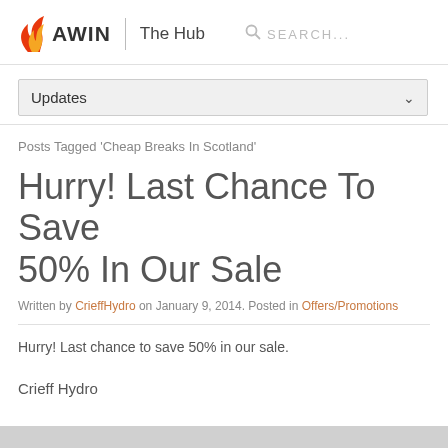AWIN | The Hub   SEARCH...
Updates
Posts Tagged 'Cheap Breaks In Scotland'
Hurry! Last Chance To Save 50% In Our Sale
Written by CrieffHydro on January 9, 2014. Posted in Offers/Promotions
Hurry! Last chance to save 50% in our sale.
Crieff Hydro